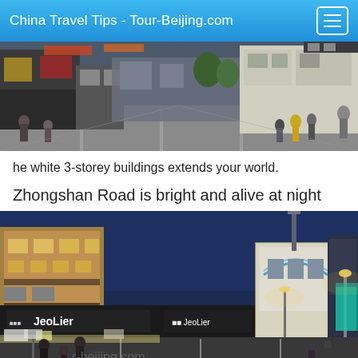China Travel Tips - Tour-Beijing.com
[Figure (photo): Daytime street scene on Zhongshan Road, a pedestrian shopping street in China with people walking, white multi-storey buildings on the right, shops and signs visible.]
he white 3-storey buildings extends your world.
Zhongshan Road is bright and alive at night
[Figure (photo): Nighttime scene of Zhongshan Road with illuminated storefronts including a JeoLier store, white classical-style building lit up with blue and white lights, street lamps, and pedestrians walking.]